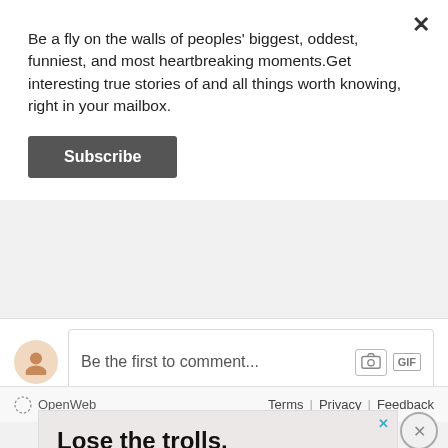Be a fly on the walls of peoples' biggest, oddest, funniest, and most heartbreaking moments.Get interesting true stories of and all things worth knowing, right in your mailbox.
Subscribe
Be the first to comment...
OpenWeb   Terms | Privacy | Feedback
[Figure (screenshot): Advertisement panel with text: Lose the trolls. Keep the comments. It's time to save online conversation. Learn more button.]